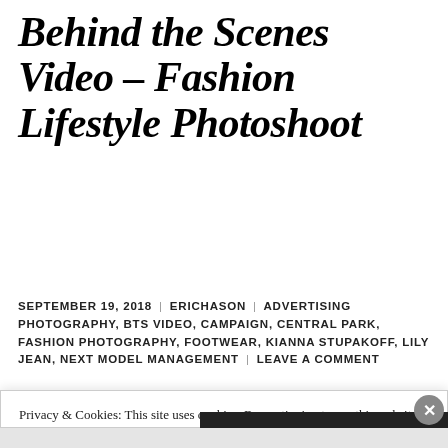Behind the Scenes Video – Fashion Lifestyle Photoshoot
SEPTEMBER 19, 2018 | ERICHASON | ADVERTISING PHOTOGRAPHY, BTS VIDEO, CAMPAIGN, CENTRAL PARK, FASHION PHOTOGRAPHY, FOOTWEAR, KIANNA STUPAKOFF, LILY JEAN, NEXT MODEL MANAGEMENT | LEAVE A COMMENT
Privacy & Cookies: This site uses cookies. By continuing to use this website, you agree to their use.
To find out more, including how to control cookies, see here: Cookie Policy
Close and accept